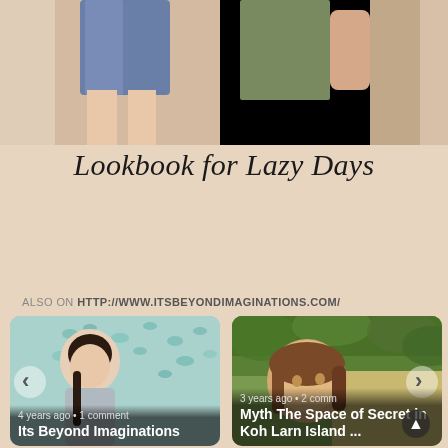[Figure (photo): Top cropped photo of two people's lower bodies, one in blue shorts, one in olive/green outfit, on a warm beige background]
Lookbook for Lazy Days
ALSO ON HTTP://WWW.ITSBEYONDIMAGINATIONS.COM/
[Figure (photo): Card 1: Photo of Asian woman with braid in front of teal butterfly wall art. Caption: 4 years ago • 1 comment. Title: Its Beyond Imaginations]
[Figure (photo): Card 2: Photo of smiling woman outdoors with green foliage. Caption: 3 years ago • 2 comm. Title: Myth The Space of Secret in Koh Larn Island ...]